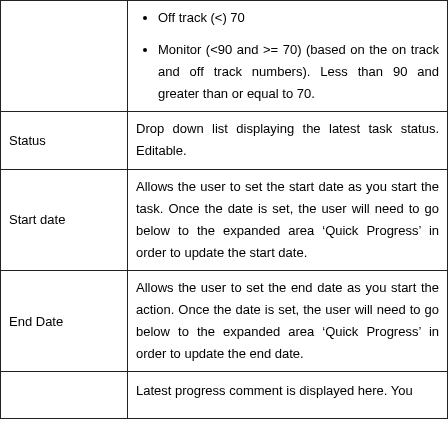| Field | Description |
| --- | --- |
|  | Off track (<) 70
Monitor (<90 and >= 70) (based on the on track and off track numbers). Less than 90 and greater than or equal to 70. |
| Status | Drop down list displaying the latest task status. Editable. |
| Start date | Allows the user to set the start date as you start the task. Once the date is set, the user will need to go below to the expanded area ‘Quick Progress’ in order to update the start date. |
| End Date | Allows the user to set the end date as you start the action. Once the date is set, the user will need to go below to the expanded area ‘Quick Progress’ in order to update the end date. |
|  | Latest progress comment is displayed here. You |